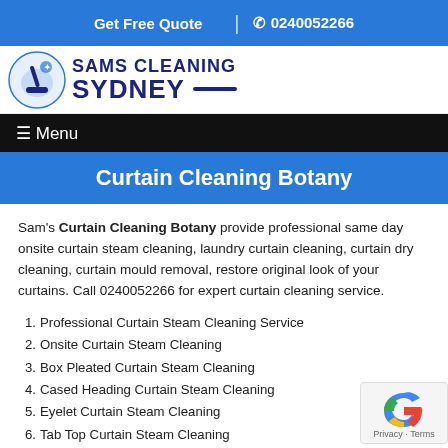Get Free Quote | 0240052266
[Figure (logo): Sams Cleaning Sydney logo with broom/cleaning icon]
☰ Menu
Curtain Cleaning Botany
Sam's Curtain Cleaning Botany provide professional same day onsite curtain steam cleaning, laundry curtain cleaning, curtain dry cleaning, curtain mould removal, restore original look of your curtains. Call 0240052266 for expert curtain cleaning service.
1. Professional Curtain Steam Cleaning Service
2. Onsite Curtain Steam Cleaning
3. Box Pleated Curtain Steam Cleaning
4. Cased Heading Curtain Steam Cleaning
5. Eyelet Curtain Steam Cleaning
6. Tab Top Curtain Steam Cleaning